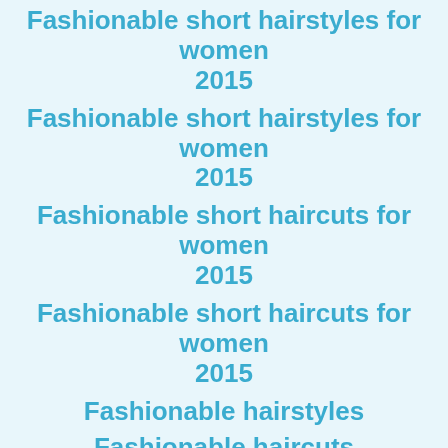Fashionable short hairstyles for women 2015
Fashionable short hairstyles for women 2015
Fashionable short haircuts for women 2015
Fashionable short haircuts for women 2015
Fashionable hairstyles
Fashionable haircuts
Fashionable short haircuts
Fashionable short hairstyles
Fashionable hairstyles 2014
Fashionable haircuts 2014